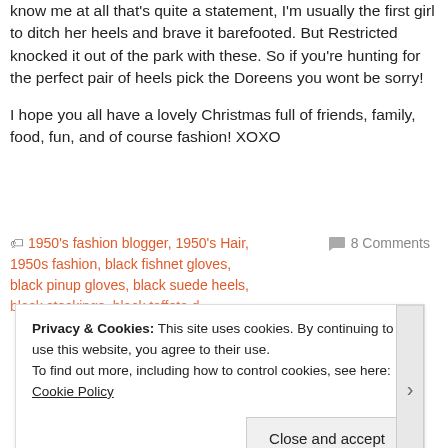know me at all that's quite a statement, I'm usually the first girl to ditch her heels and brave it barefooted. But Restricted knocked it out of the park with these. So if you're hunting for the perfect pair of heels pick the Doreens you wont be sorry!

I hope you all have a lovely Christmas full of friends, family, food, fun, and of course fashion! XOXO
1950's fashion blogger, 1950's Hair, 1950s fashion, black fishnet gloves, black pinup gloves, black suede heels,    8 Comments
Privacy & Cookies: This site uses cookies. By continuing to use this website, you agree to their use.
To find out more, including how to control cookies, see here: Cookie Policy
Close and accept